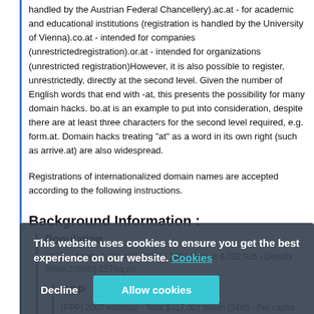handled by the Austrian Federal Chancellery).ac.at - for academic and educational institutions (registration is handled by the University of Vienna).co.at - intended for companies (unrestrictedregistration).or.at - intended for organizations (unrestricted registration)However, it is also possible to register, unrestrictedly, directly at the second level. Given the number of English words that end with -at, this presents the possibility for many domain hacks. bo.at is an example to put into consideration, despite there are at least three characters for the second level required, e.g. form.at. Domain hacks treating "at" as a word in its own right (such as arrive.at) are also widespread.
Registrations of internationalized domain names are accepted according to the following instructions.
Background Information :
Population
2007 estimate 8,316,487 (93rd) - 2001 census 8,032,926 - Density 99/km2 (99th) 257/sq mi
GDP
(PPP) 2007 estimate - Total $317.00† billion (34th) - Per capita $38,180 (IMF) (8th)
National Anthem
This website uses cookies to ensure you get the best experience on our website. Cookies